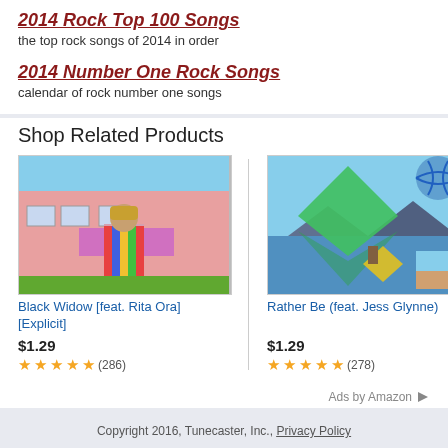2014 Rock Top 100 Songs
the top rock songs of 2014 in order
2014 Number One Rock Songs
calendar of rock number one songs
Shop Related Products
[Figure (photo): Album cover for Black Widow by Iggy Azalea featuring Rita Ora - a person in colorful outfit standing in front of a pink building with IGGY AZALEA text]
Black Widow [feat. Rita Ora] [Explicit]
$1.29
★★★★★ (286)
[Figure (photo): Album cover for Rather Be by Clean Bandit feat. Jess Glynne - green geometric diamond shapes floating above water with a blue spiral globe]
Rather Be (feat. Jess Glynne)
$1.29
★★★★★ (278)
Ads by Amazon
Copyright 2016, Tunecaster, Inc., Privacy Policy